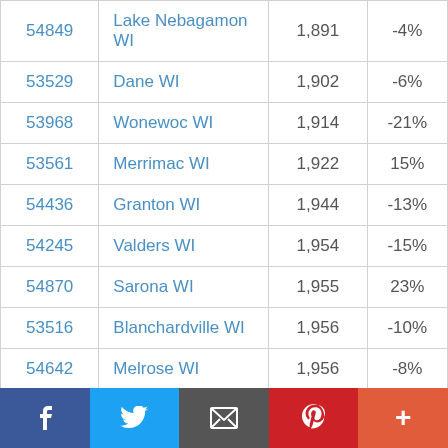| 54849 | Lake Nebagamon WI | 1,891 | -4% |
| 53529 | Dane WI | 1,902 | -6% |
| 53968 | Wonewoc WI | 1,914 | -21% |
| 53561 | Merrimac WI | 1,922 | 15% |
| 54436 | Granton WI | 1,944 | -13% |
| 54245 | Valders WI | 1,954 | -15% |
| 54870 | Sarona WI | 1,955 | 23% |
| 53516 | Blanchardville WI | 1,956 | -10% |
| 54642 | Melrose WI | 1,956 | -8% |
| 54622 | Cochrane WI | 1,959 | -8% |